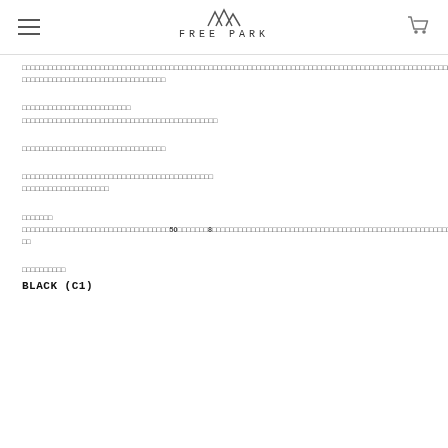FREE PARK
□□□□□□□□□□□□□□□□□□□□□□□□□□□□□□□□□□□□□□□□□□□□□□□□□□□□□□□□□□□□□□□□□□□□□□□□□□□□□□□□□□□□□□□□□□□□□□□□□□□□□
□□□□□□□□□□□□□□□□□□□□□□□□□□□□□□□□□□□□□□□□□□□□□□□□□□□□□□□□□□□□□□□□□□□□□□□□□□□□□□□□□□□□□□□□□□□□□□□□□□□□□□□□□□□□□□□□□□□□□□□□□□□□□□□□□□□□□□□
□□□□□□□□□□□□□□□□□□□□□□□□□□□□□□□□□□□□□□□□□□□□□□□□□□□□□□□□□□□□□□□□□□□□□□□□□□□□□□□
□□□□□□□□□□□□□□□□□□□□□□□□□□□□□□□□□□□□□□□□□□□□□□□□□□□□□□□□□□□□□□□□□□□□□□□□□□□50□□□□□□□8□□□□□□□□□□□□□□□□□□□□□□□□□□□□□□□□□□□□□□□□□□□□□□□□□□□□□□□□□□□□□□□□
□□□□□□□□□□□□□□□□□□□□□□□□□□□□□
□□□□□□□□□□
BLACK (C1)